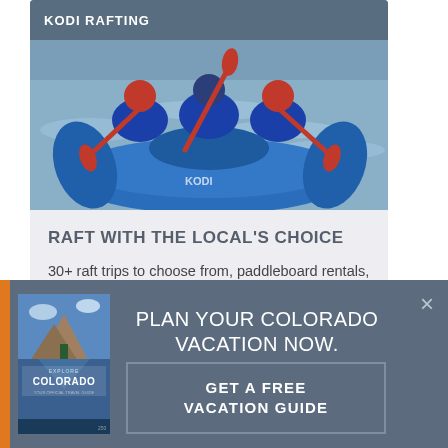[Figure (photo): Rafting photo showing people in blue inflatable raft with red paddles on water, with KODI RAFTING label overlay]
RAFT WITH THE LOCAL'S CHOICE
30+ raft trips to choose from, paddleboard rentals, zipline tours and more! Find KODI…
Choose Your Trip! >
[Figure (photo): Colorado vacation guide book cover showing mountain lake scene with EXPLORE COLORADO text]
PLAN YOUR COLORADO VACATION NOW.
GET A FREE VACATION GUIDE